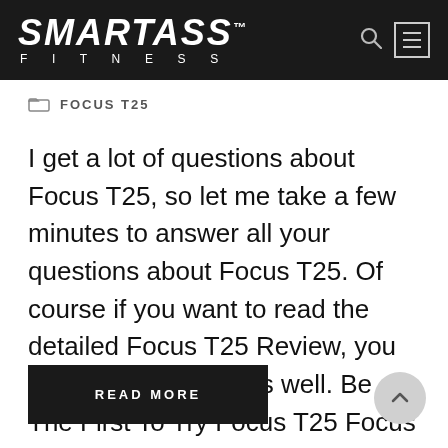SMARTASS™ FITNESS
FOCUS T25
I get a lot of questions about Focus T25, so let me take a few minutes to answer all your questions about Focus T25. Of course if you want to read the detailed Focus T25 Review, you can check that out as well. Be The First To Try Focus T25 Focus T25 Base Kit: $119.85...
READ MORE